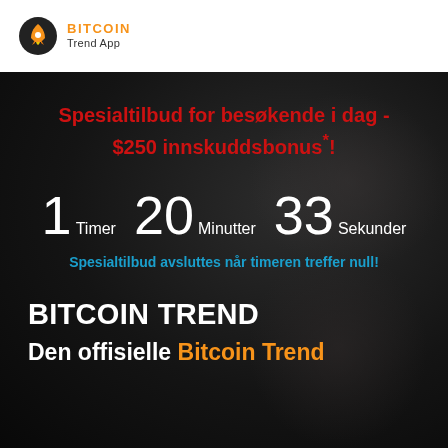[Figure (logo): Bitcoin Trend App logo with rocket icon in orange/dark, text BITCOIN in orange and Trend App in dark gray]
Spesialtilbud for besøkende i dag - $250 innskuddsbonus*!
1 Timer 20 Minutter 33 Sekunder
Spesialtilbud avsluttes når timeren treffer null!
BITCOIN TREND
Den offisielle Bitcoin Trend